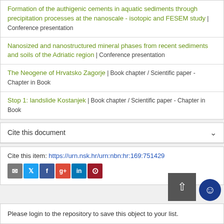Formation of the authigenic cements in aquatic sediments through precipitation processes at the nanoscale - isotopic and FESEM study | Conference presentation
Nanosized and nanostructured mineral phases from recent sediments and soils of the Adriatic region | Conference presentation
The Neogene of Hrvatsko Zagorje | Book chapter / Scientific paper - Chapter in Book
Stop 1: landslide Kostanjek | Book chapter / Scientific paper - Chapter in Book
Cite this document
Cite this item: https://urn.nsk.hr/urn:nbn:hr:169:751429
Please login to the repository to save this object to your list.